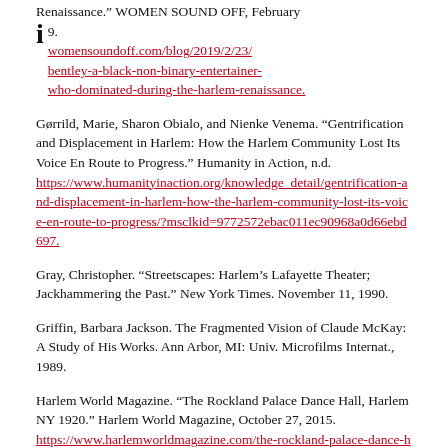Renaissance." WOMEN SOUND OFF, February [date], 2019. womensoundoff.com/blog/2019/2/23/bentley-a-black-non-binary-entertainer-who-dominated-during-the-harlem-renaissance.
Gørrild, Marie, Sharon Obialo, and Nienke Venema. "Gentrification and Displacement in Harlem: How the Harlem Community Lost Its Voice En Route to Progress." Humanity in Action, n.d. https://www.humanityinaction.org/knowledge_detail/gentrification-and-displacement-in-harlem-how-the-harlem-community-lost-its-voice-en-route-to-progress/?msclkid=9772572ebac011ec90968a0d66ebd697.
Gray, Christopher. "Streetscapes: Harlem's Lafayette Theater; Jackhammering the Past." New York Times. November 11, 1990.
Griffin, Barbara Jackson. The Fragmented Vision of Claude McKay: A Study of His Works. Ann Arbor, MI: Univ. Microfilms Internat., 1989.
Harlem World Magazine. "The Rockland Palace Dance Hall, Harlem NY 1920." Harlem World Magazine, October 27, 2015. https://www.harlemworldmagazine.com/the-rockland-palace-dance-hall-harlem-ny-1920/.